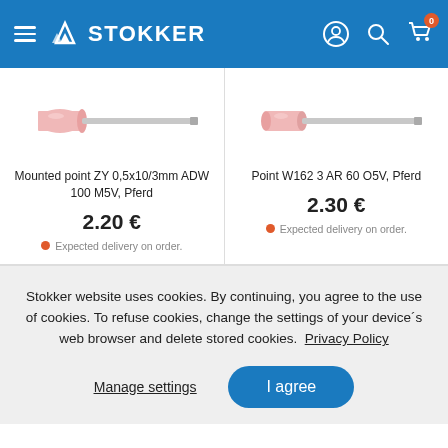STOKKER
[Figure (photo): Mounted point ZY 0,5x10/3mm ADW 100 M5V, Pferd – pink cylindrical mounted grinding point on metal shank]
Mounted point ZY 0,5x10/3mm ADW 100 M5V, Pferd
2.20 €
Expected delivery on order.
[Figure (photo): Point W162 3 AR 60 O5V, Pferd – pink cylindrical mounted grinding point on metal shank]
Point W162 3 AR 60 O5V, Pferd
2.30 €
Expected delivery on order.
Stokker website uses cookies. By continuing, you agree to the use of cookies. To refuse cookies, change the settings of your device´s web browser and delete stored cookies.  Privacy Policy
Manage settings
I agree